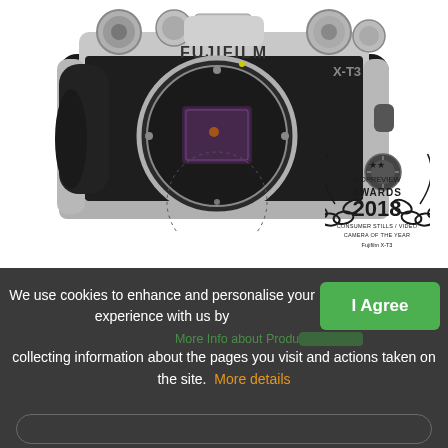[Figure (photo): Fujifilm X-T3 mirrorless camera body in silver/black colorway, shown without lens, front view. Fujifilm branding and X-T3 model name visible on the camera body.]
[Figure (logo): DPREVIEW Awards 2018 badge/seal. Text: CONSUMER STILLS / VIDEO CAMERA OF THE YEAR, Fujifilm X-T3]
We use cookies to enhance and personalise your experience with us by collecting information about the pages you visit and actions taken on the site. More details
More Info about Produ